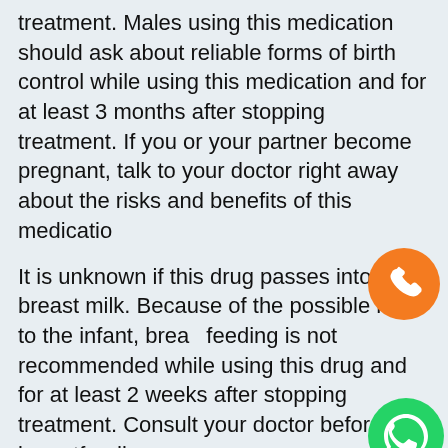treatment. Males using this medication should ask about reliable forms of birth control while using this medication and for at least 3 months after stopping treatment. If you or your partner become pregnant, talk to your doctor right away about the risks and benefits of this medication.
[Figure (illustration): Orange circle phone icon]
It is unknown if this drug passes into breast milk. Because of the possible risk to the infant, breastfeeding is not recommended while using this drug and for at least 2 weeks after stopping treatment. Consult your doctor before breastfeeding.
[Figure (illustration): Green WhatsApp icon]
Interactions:
Drug interactions may change how your medications work or increase your risk for serious side effects. This document does not